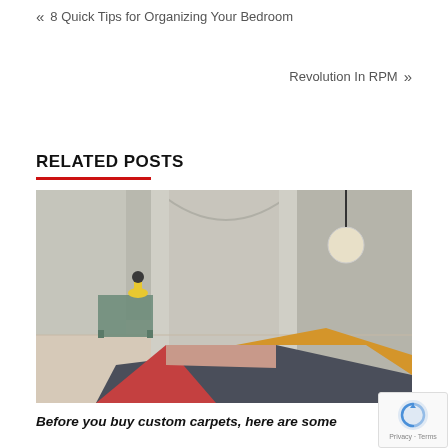« 8 Quick Tips for Organizing Your Bedroom
Revolution In RPM »
RELATED POSTS
[Figure (photo): Interior room scene with a colorful geometric rug on the floor featuring red, yellow, pink and dark gray triangular shapes. A green side table with a yellow lamp sits in the background against gray walls with arched openings and a circular wall light.]
Before you buy custom carpets, here are some